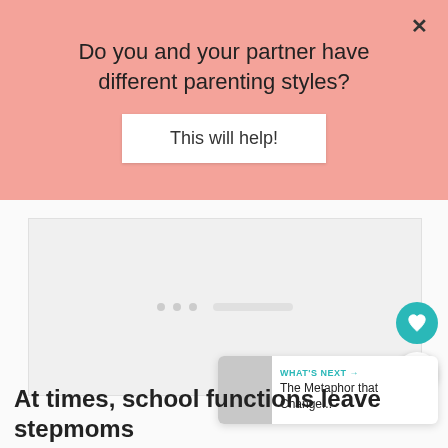Do you and your partner have different parenting styles?
This will help!
[Figure (other): Advertisement placeholder box with loading dots]
WHAT'S NEXT → The Metaphor that Change...
At times, school functions leave stepmoms